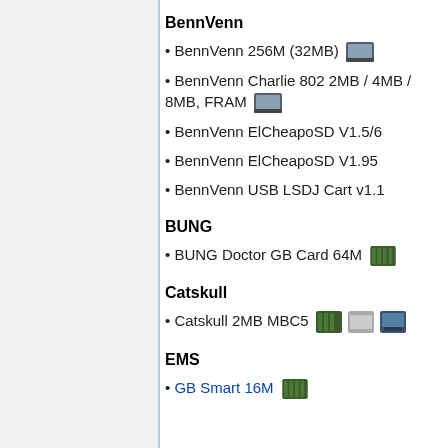BennVenn
BennVenn 256M (32MB) [icon]
BennVenn Charlie 802 2MB / 4MB / 8MB, FRAM [icon]
BennVenn ElCheapoSD V1.5/6
BennVenn ElCheapoSD V1.95
BennVenn USB LSDJ Cart v1.1
BUNG
BUNG Doctor GB Card 64M [icon]
Catskull
Catskull 2MB MBC5 [icons]
EMS
GB Smart 16M [icon]